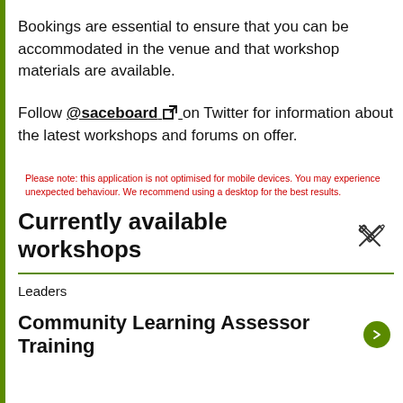Bookings are essential to ensure that you can be accommodated in the venue and that workshop materials are available.
Follow @saceboard on Twitter for information about the latest workshops and forums on offer.
Please note: this application is not optimised for mobile devices. You may experience unexpected behaviour. We recommend using a desktop for the best results.
Currently available workshops
Leaders
Community Learning Assessor Training